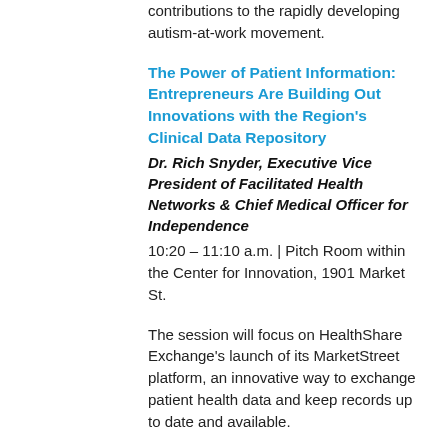businesses are making significant contributions to the rapidly developing autism-at-work movement.
The Power of Patient Information: Entrepreneurs Are Building Out Innovations with the Region's Clinical Data Repository
Dr. Rich Snyder, Executive Vice President of Facilitated Health Networks & Chief Medical Officer for Independence
10:20 – 11:10 a.m. | Pitch Room within the Center for Innovation, 1901 Market St.
The session will focus on HealthShare Exchange's launch of its MarketStreet platform, an innovative way to exchange patient health data and keep records up to date and available.